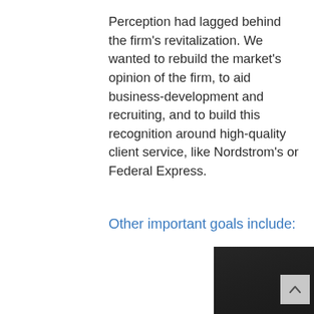Perception had lagged behind the firm's revitalization. We wanted to rebuild the market's opinion of the firm, to aid business-development and recruiting, and to build this recognition around high-quality client service, like Nordstrom's or Federal Express.
Other important goals include:
[Figure (photo): Book cover image with dark background showing a person and large white text reading '"I HADN'T CONSIDERED THAT' with smaller subtitle text 'Client and Lawyer — A Different Balance.']